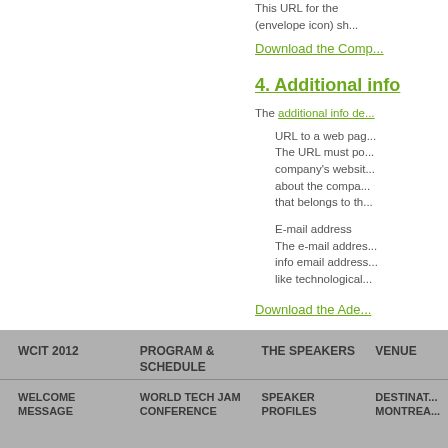This URL for the ... (envelope icon) sh...
Download the Comp...
4. Additional info
The additional info de...
URL to a web pag... The URL must po... company's websit... about the compa... that belongs to th...
E-mail address The e-mail addres... info email address... like technological...
Download the Ade...
WCIT 2012 | PROGRAM & SCHEDULE | THE SPEAKERS | VENUE | WELCOME MESSAGE | WORLD TECH JAM CONFERENCE | SPEAKER PROFILES | DESTINAT... MONTREA...